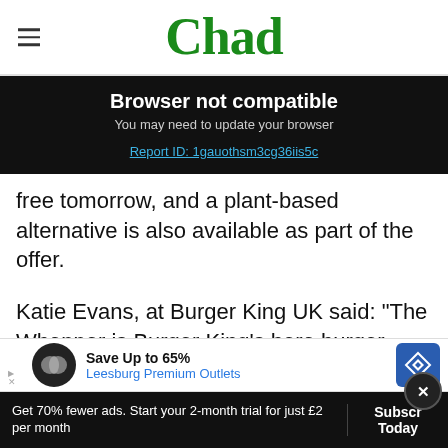Chad
Browser not compatible
You may need to update your browser
Report ID: 1gauothsm3cg36iis5c
free tomorrow, and a plant-based alternative is also available as part of the offer.
Katie Evans, at Burger King UK said: “The Whopper is Burger King’s hero burger - created using
[Figure (screenshot): Advertisement banner: Save Up to 65% Leesburg Premium Outlets]
Get 70% fewer ads. Start your 2-month trial for just £2 per month
Subscribe Today